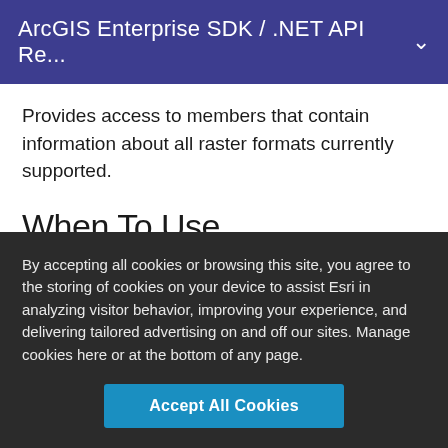ArcGIS Enterprise SDK / .NET API Re...
Provides access to members that contain information about all raster formats currently supported.
When To Use
The FormatList object contains information about all available raster formats. It can be used to access this
By accepting all cookies or browsing this site, you agree to the storing of cookies on your device to assist Esri in analyzing visitor behavior, improving your experience, and delivering tailored advertising on and off our sites. Manage cookies here or at the bottom of any page.
Accept All Cookies